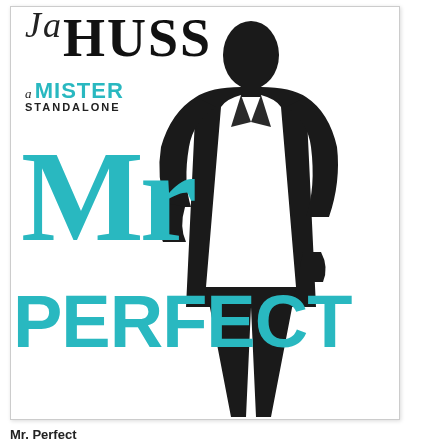[Figure (illustration): Book cover for 'Mr. Perfect' by JA Huss. Features a silhouette of a man in a suit viewed from behind, with teal/turquoise large text reading 'Mr PERFECT' overlaid. Top left shows the author name 'JA HUSS' in bold serif font and subtitle 'a MISTER STANDALONE' in teal and black text. White background with subtle border.]
Mr. Perfect